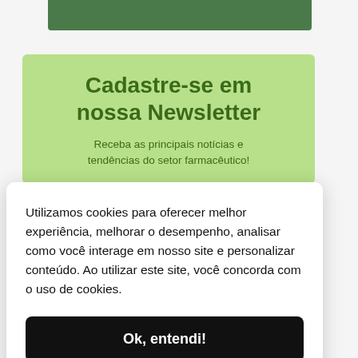[Figure (screenshot): Dark green banner/button at top of page, partially visible]
Cadastre-se em nossa Newsletter
Receba as principais notícias e tendências do setor farmacêutico!
Utilizamos cookies para oferecer melhor experiência, melhorar o desempenho, analisar como você interage em nosso site e personalizar conteúdo. Ao utilizar este site, você concorda com o uso de cookies.
Ok, entendi!